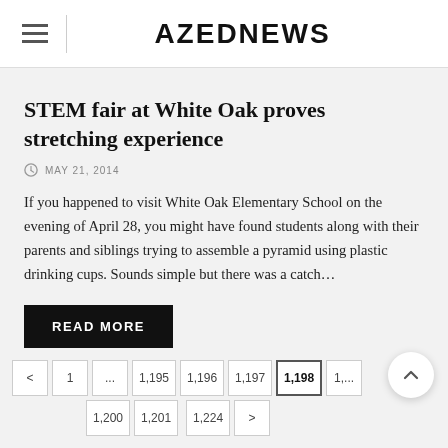AZEDNEWS
STEM fair at White Oak proves stretching experience
MAY 21, 2014
If you happened to visit White Oak Elementary School on the evening of April 28, you might have found students along with their parents and siblings trying to assemble a pyramid using plastic drinking cups. Sounds simple but there was a catch…
READ MORE
< 1 ... 1,195 1,196 1,197 1,198 1,... 1,200 1,201 1,224 >